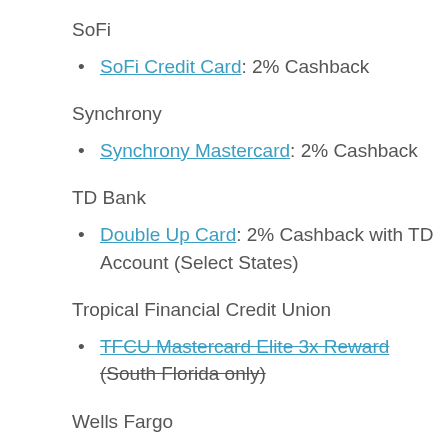SoFi
SoFi Credit Card: 2% Cashback
Synchrony
Synchrony Mastercard: 2% Cashback
TD Bank
Double Up Card: 2% Cashback with TD Account (Select States)
Tropical Financial Credit Union
TFCU Mastercard Elite 3x Reward (South Florida only)
Wells Fargo
Active Cash: 2% Cash Rewards